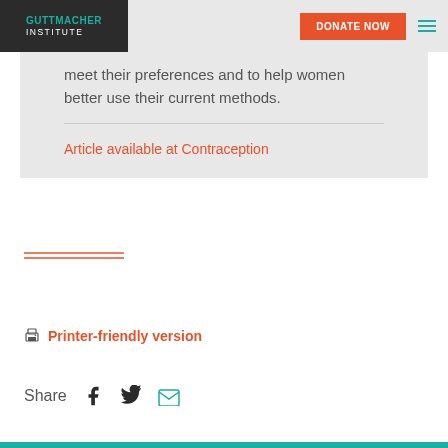GUTTMACHER INSTITUTE | DONATE NOW
meet their preferences and to help women better use their current methods.
Article available at Contraception
Printer-friendly version
Share